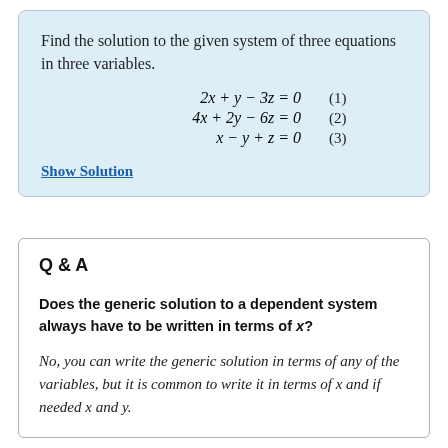Find the solution to the given system of three equations in three variables.
Show Solution
Q & A
Does the generic solution to a dependent system always have to be written in terms of x?
No, you can write the generic solution in terms of any of the variables, but it is common to write it in terms of x and if needed x and y.